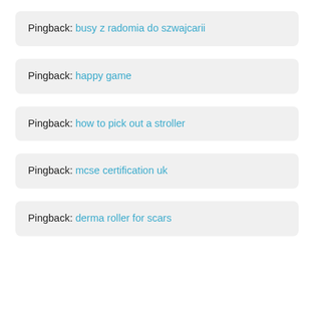Pingback: busy z radomia do szwajcarii
Pingback: happy game
Pingback: how to pick out a stroller
Pingback: mcse certification uk
Pingback: derma roller for scars